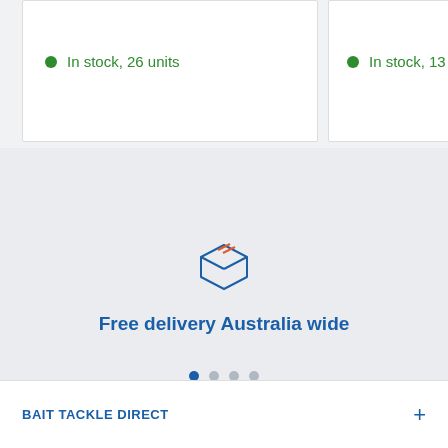In stock, 26 units
In stock, 13 units
[Figure (illustration): Blue outlined box/package icon with orange/red diagonal stripes on top, representing delivery]
Free delivery Australia wide
BAIT TACKLE DIRECT